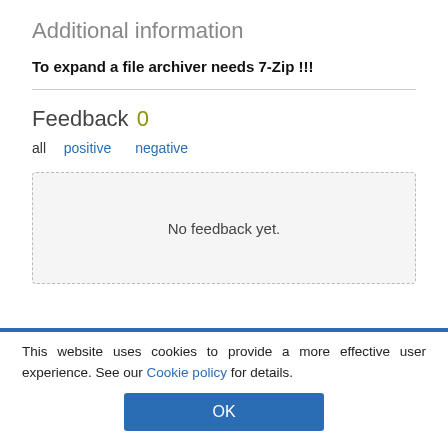Additional information
To expand a file archiver needs 7-Zip !!!
Feedback 0
all  positive  negative
No feedback yet.
This website uses cookies to provide a more effective user experience. See our Cookie policy for details.
OK